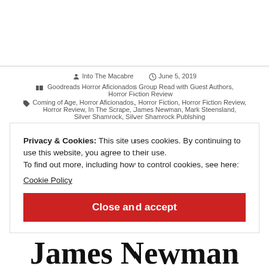Into The Macabre   June 5, 2019
Goodreads Horror Aficionados Group Read with Guest Authors, Horror Fiction Review
Coming of Age, Horror Aficionados, Horror Fiction, Horror Fiction Review, Horror Review, In The Scrape, James Newman, Mark Steensland, Silver Shamrock, Silver Shamrock Publshing
Privacy & Cookies: This site uses cookies. By continuing to use this website, you agree to their use.
To find out more, including how to control cookies, see here:
Cookie Policy
Close and accept
James Newman